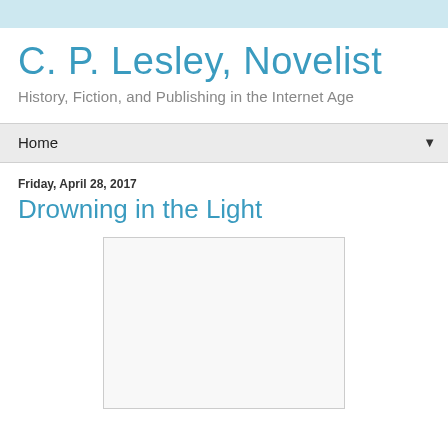C. P. Lesley, Novelist
History, Fiction, and Publishing in the Internet Age
Home
Friday, April 28, 2017
Drowning in the Light
[Figure (other): Book cover or blog post image placeholder (white/light gray rectangle with border)]